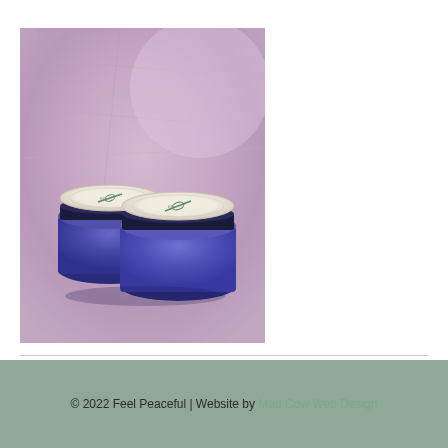[Figure (photo): Two blue glass jars with white circular labels featuring a green botanical needle/leaf design, placed on a pink/purple fabric background]
© 2022 Feel Peaceful | Website by Mad Cow Web Design